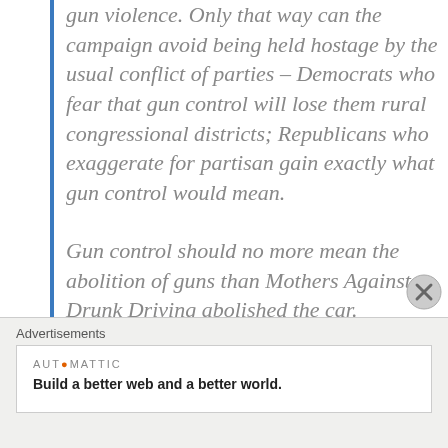gun violence. Only that way can the campaign avoid being held hostage by the usual conflict of parties – Democrats who fear that gun control will lose them rural congressional districts; Republicans who exaggerate for partisan gain exactly what gun control would mean.
Gun control should no more mean the abolition of guns than Mothers Against Drunk Driving abolished the car.
(snip)
Responsible gun owners have a right to
Advertisements
AUTOMATTIC
Build a better web and a better world.